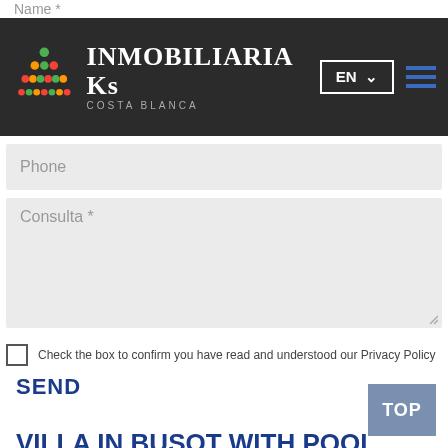Name *
[Figure (logo): Inmobiliaria Ks Costa Blanca logo with triangle/pyramid shape made of colored dots, company name and tagline]
EN ▾
Phone
Consulta *
Check the box to confirm you have read and understood our Privacy Policy
SEND
VILLA IN BUSOT WITH POOL AND MOUNTAIN VIEWS
constructed:
150m²
TOP